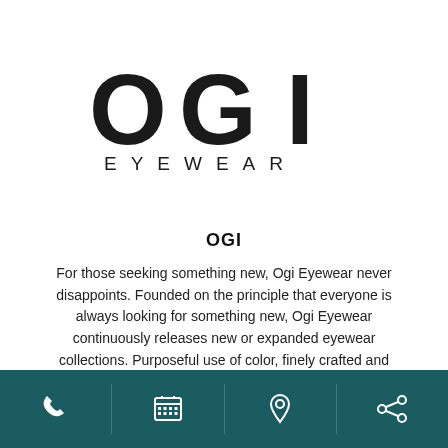[Figure (logo): OGI EYEWEAR logo — large bold letters OGI above spaced-out text EYEWEAR]
OGI
For those seeking something new, Ogi Eyewear never disappoints. Founded on the principle that everyone is always looking for something new, Ogi Eyewear continuously releases new or expanded eyewear collections. Purposeful use of color, finely crafted and affordable.
[Figure (infographic): Dark teal footer bar with four icons: phone, calendar/grid, map pin, share/network symbol]